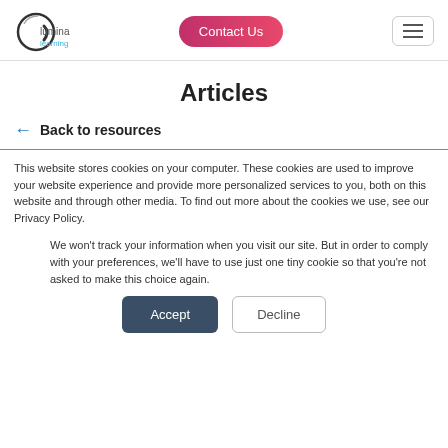[Figure (logo): Lumina Learning logo with circular swoosh and text]
Articles
← Back to resources
This website stores cookies on your computer. These cookies are used to improve your website experience and provide more personalized services to you, both on this website and through other media. To find out more about the cookies we use, see our Privacy Policy.
We won't track your information when you visit our site. But in order to comply with your preferences, we'll have to use just one tiny cookie so that you're not asked to make this choice again.